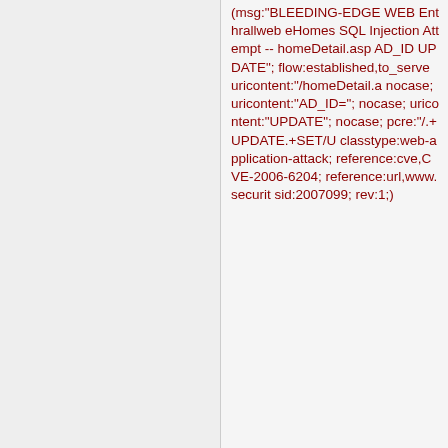(msg:"BLEEDING-EDGE WEB Enthrallweb eHomes SQL Injection Attempt -- homeDetail.asp AD_ID UPDATE"; flow:established,to_server; uricontent:"/homeDetail.a; nocase; uricontent:"AD_ID="; nocase; uricontent:"UPDATE"; nocase; pcre:"/.+UPDATE.+SET/U; classtype:web-application-attack; reference:cve,CVE-2006-6204; reference:url,www.securit; sid:2007099; rev:1;)